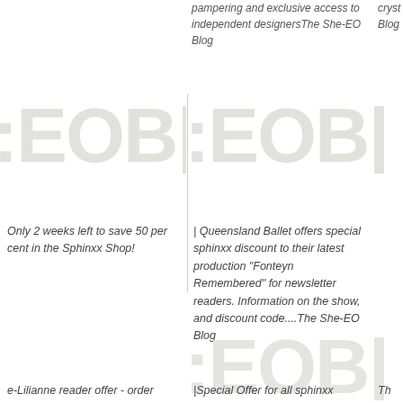pampering and exclusive access to independent designersThe She-EO Blog
cryst when Blog
[Figure (logo): She-EO Blog logo watermark showing ':EOB|' text in large light grey letters, left column]
[Figure (logo): She-EO Blog logo watermark showing ':EOB|' text in large light grey letters, center column]
Only 2 weeks left to save 50 per cent in the Sphinxx Shop!
| Queensland Ballet offers special sphinxx discount to their latest production "Fonteyn Remembered" for newsletter readers. Information on the show, and discount code....The She-EO Blog
[Figure (logo): She-EO Blog logo watermark showing ':EOB|' text in large light grey letters, center column lower row]
e-Lilianne reader offer - order
|Special Offer for all sphinxx
Th